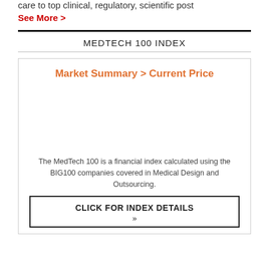care to top clinical, regulatory, scientific post
See More >
MEDTECH 100 INDEX
Market Summary > Current Price
[Figure (other): Empty chart area placeholder for MedTech 100 index market summary widget]
The MedTech 100 is a financial index calculated using the BIG100 companies covered in Medical Design and Outsourcing.
CLICK FOR INDEX DETAILS